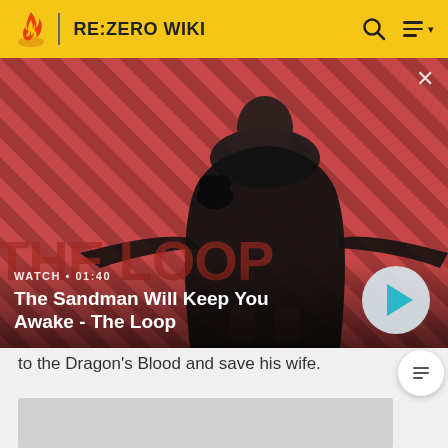RE:ZERO WIKI
[Figure (screenshot): Video thumbnail for 'The Sandman Will Keep You Awake - The Loop', showing a dark-cloaked figure with a raven on a red diagonal-striped background. Duration shown as 01:40 with a play button.]
WATCH • 01:40
The Sandman Will Keep You Awake - The Loop
to the Dragon's Blood and save his wife.
[Figure (photo): Gray image placeholder at bottom of page]